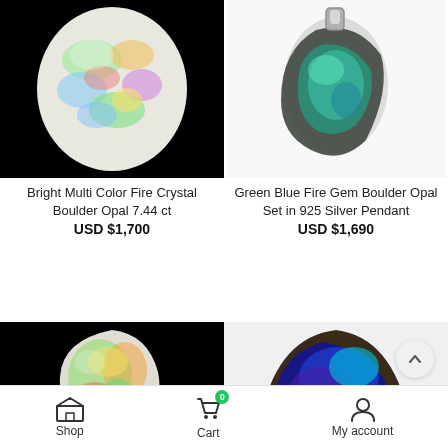[Figure (photo): Bright multi-color fire crystal boulder opal gemstone on black background, oval cabochon shape with rainbow iridescence]
[Figure (photo): Green blue fire gem boulder opal set in 925 silver pendant, irregular shape with metallic silver setting]
Bright Multi Color Fire Crystal Boulder Opal 7.44 ct
USD $1,700
Green Blue Fire Gem Boulder Opal Set in 925 Silver Pendant
USD $1,690
[Figure (photo): Large pear-shaped white crystal opal on black background with vivid green, red and orange fire play]
[Figure (photo): Boulder opal with deep blue and purple iridescent color pattern, triangular shape with ironstone matrix]
Shop | Cart | My account